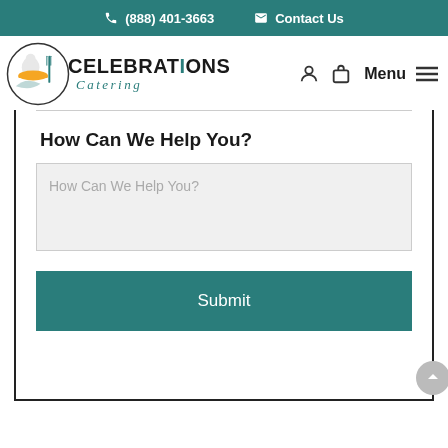(888) 401-3663   Contact Us
[Figure (logo): Celebrations Catering logo with circular emblem showing a server with dish and fork, teal and orange accents]
Menu
How Can We Help You?
How Can We Help You?
Submit